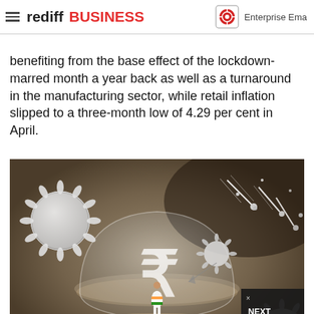rediff BUSINESS | Enterprise Email
...India's factory output climbed 22.4 per cent in March, benefiting from the base effect of the lockdown-marred month a year back as well as a turnaround in the manufacturing sector, while retail inflation slipped to a three-month low of 4.29 per cent in April.
[Figure (illustration): Illustration showing Indian economic scene with COVID-19 virus particles attacking, a person in Indian attire standing inside a glass dome protecting the Indian Rupee symbol, with meteor-like projectiles in the background.]